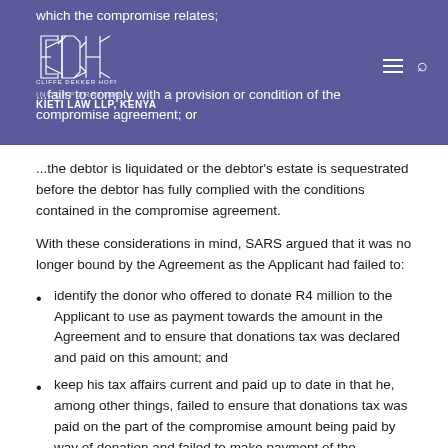which the compromise relates; ...fails to comply with a provision or condition of the compromise agreement; or ...the debtor is liquidated or the debtor's estate is sequestrated before the debtor has fully complied with the conditions contained in the compromise agreement.
With these considerations in mind, SARS argued that it was no longer bound by the Agreement as the Applicant had failed to:
identify the donor who offered to donate R4 million to the Applicant to use as payment towards the amount in the Agreement and to ensure that donations tax was declared and paid on this amount; and
keep his tax affairs current and paid up to date in that he, among other things, failed to ensure that donations tax was paid on the part of the compromise amount being paid by way of donation and failed to make payment of the previously acknowledged liability for the